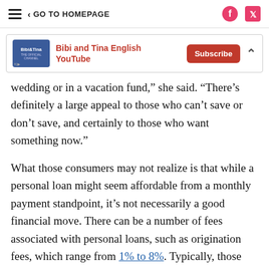≡  < GO TO HOMEPAGE
[Figure (other): Advertisement banner for Bibi and Tina English YouTube channel with Subscribe button]
wedding or in a vacation fund,” she said. “There’s definitely a large appeal to those who can’t save or don’t save, and certainly to those who want something now.”
What those consumers may not realize is that while a personal loan might seem affordable from a monthly payment standpoint, it’s not necessarily a good financial move. There can be a number of fees associated with personal loans, such as origination fees, which range from 1% to 8%. Typically, those fees are rolled into the loan balance. So not only do